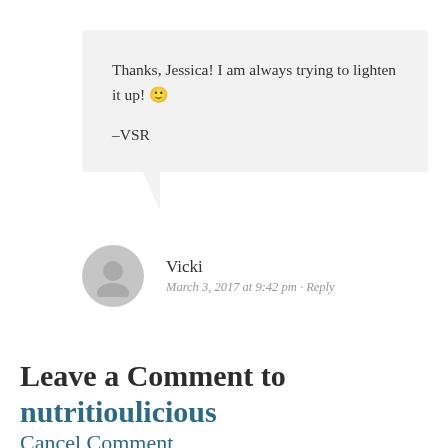Thanks, Jessica! I am always trying to lighten it up! 🙂

–VSR
Vicki
March 3, 2017 at 9:42 pm · Reply
Leave a Comment to nutritioulicious
Cancel Comment